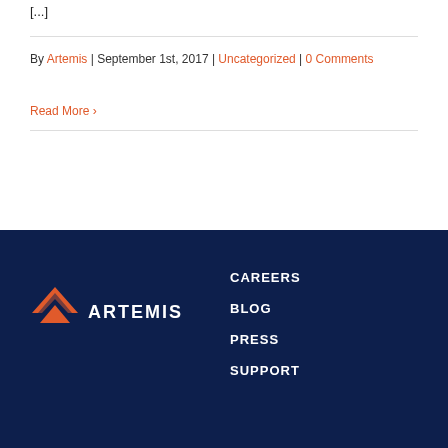[...]
By Artemis | September 1st, 2017 | Uncategorized | 0 Comments
Read More ›
[Figure (logo): Artemis logo: orange chevron/arrow icon with white text ARTEMIS]
CAREERS
BLOG
PRESS
SUPPORT